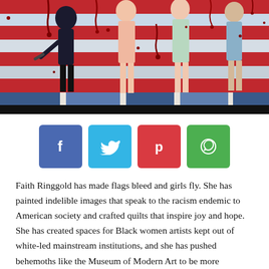[Figure (illustration): A painting depicting figures standing in front of an American flag-like background with red stripes on white and blue rectangles, with blood-red drips on the stripes. The figures appear to be women in dresses.]
[Figure (infographic): Social sharing buttons: Facebook (blue), Twitter (cyan), Pinterest (red), WhatsApp (green)]
Faith Ringgold has made flags bleed and girls fly. She has painted indelible images that speak to the racism endemic to American society and crafted quilts that inspire joy and hope. She has created spaces for Black women artists kept out of white-led mainstream institutions, and she has pushed behemoths like the Museum of Modern Art to be more inclusive. (In 1970, John Hightower, a former director of that